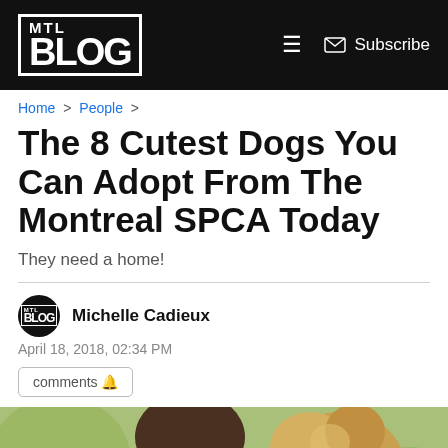MTL Blog | Subscribe
Home > People >
The 8 Cutest Dogs You Can Adopt From The Montreal SPCA Today
They need a home!
Michelle Cadieux
April 18, 2018, 02:34 PM
comments 🔔
[Figure (photo): Photo of a person with a fluffy dog outdoors, partially visible at bottom of page]